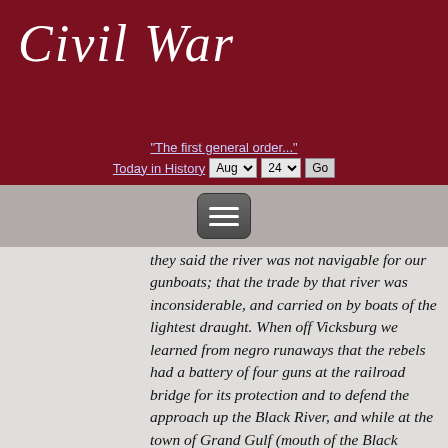[Figure (logo): Civil War website header with cursive 'Civil War' text in white on dark red background]
"The first general order..." | Today in History Aug 24 Go
[Figure (screenshot): Hamburger menu button on gray navigation bar]
they said the river was not navigable for our gunboats; that the trade by that river was inconsiderable, and carried on by boats of the lightest draught. When off Vicksburg we learned from negro runaways that the rebels had a battery of four guns at the railroad bridge for its protection and to defend the approach up the Black River, and while at the town of Grand Gulf (mouth of the Black River) the 26th were informed by like authority that a battery of eleven guns had been